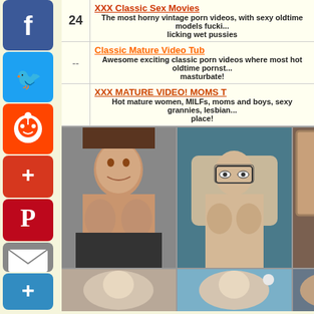[Figure (screenshot): Social media share sidebar icons: Facebook, Twitter, Reddit, AddThis, Pinterest, Email, More]
24
XXX Classic Sex Movies
The most horny vintage porn videos, with sexy oldtime models fucki... licking wet pussies
Classic Mature Video Tub
Awesome exciting classic porn videos where most hot oldtime pornst... masturbate!
XXX MATURE VIDEO! MOMS T
Hot mature women, MILFs, moms and boys, sexy grannies, lesbian... place!
[Figure (photo): Nude mature woman photo 1]
[Figure (photo): Nude mature woman with glasses photo 2]
[Figure (photo): Partial nude photo 3]
[Figure (photo): Bottom row photo 1]
[Figure (photo): Bottom row photo 2]
[Figure (photo): Bottom row photo 3]